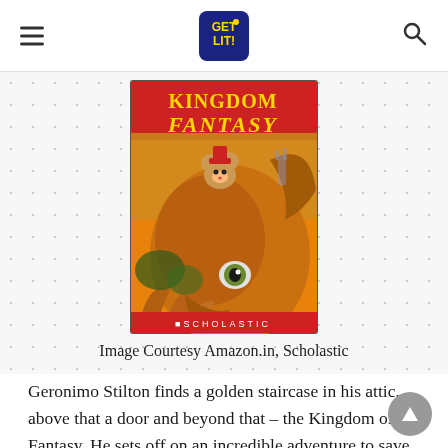Get Lit! — navigation bar with hamburger menu, logo, and search icon
[Figure (photo): Book cover of 'Kingdom Fantasy' by Geronimo Stilton, published by Scholastic. Features a dragon and fantasy characters on a colorful illustrated cover.]
Image Courtesy Amazon.in, Scholastic
Geronimo Stilton finds a golden staircase in his attic, above that a door and beyond that – the Kingdom of Fantasy. He sets off on an incredible adventure to save the Queen of the Fairies. But